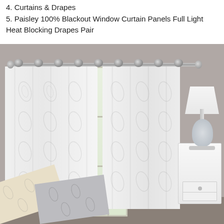4. Curtains & Drapes
5. Paisley 100% Blackout Window Curtain Panels Full Light Heat Blocking Drapes Pair
[Figure (photo): Product photo of white paisley-patterned blackout window curtain panels with grommet tops hanging on a silver rod in a room setting with nightstand and lamp. Bottom shows color swatch options in cream and gray.]